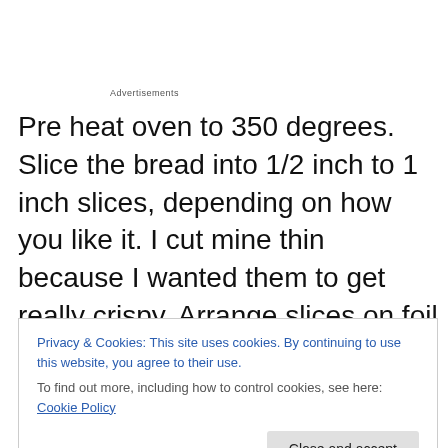Advertisements
Pre heat oven to 350 degrees. Slice the bread into 1/2 inch to 1 inch slices, depending on how you like it. I cut mine thin because I wanted them to get really crispy. Arrange slices on foil lined baking sheet and put in the oven for 5 minutes. I like to do this to crisp the bread up a little before piling on the toppings. It helps make this snack less soggy.
Privacy & Cookies: This site uses cookies. By continuing to use this website, you agree to their use.
To find out more, including how to control cookies, see here: Cookie Policy
Close and accept
desired consistency. I usually like mine on the chunkier